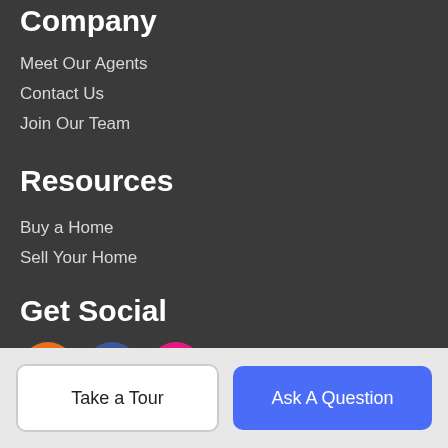Company
Meet Our Agents
Contact Us
Join Our Team
Resources
Buy a Home
Sell Your Home
Get Social
[Figure (illustration): Three social media icons: RSS (orange), Facebook (blue), Instagram (pink)]
About Us
Serving Myrtle Beach, Surfside, Garden City, Litchfield, Murrells
Take a Tour | Ask A Question